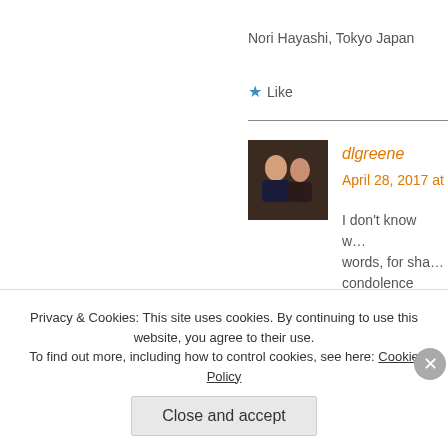Nori Hayashi, Tokyo Japan
★ Like
dlgreene
April 28, 2017 at
I don't know w… words, for sha… condolence an…
★ Like
Heidi
Privacy & Cookies: This site uses cookies. By continuing to use this website, you agree to their use.
To find out more, including how to control cookies, see here: Cookie Policy
Close and accept